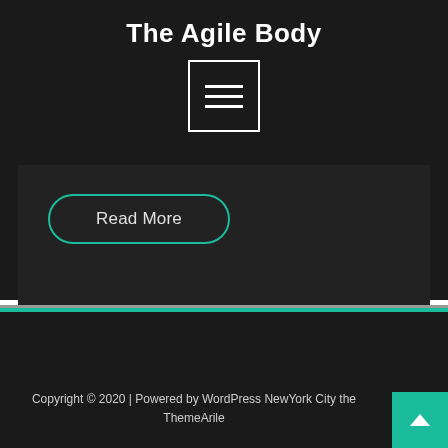The Agile Body
[Figure (other): Hamburger/menu icon button with three horizontal white lines inside a white-bordered square]
Read More
Copyright © 2020 | Powered by WordPress NewYork City the ThemeArile